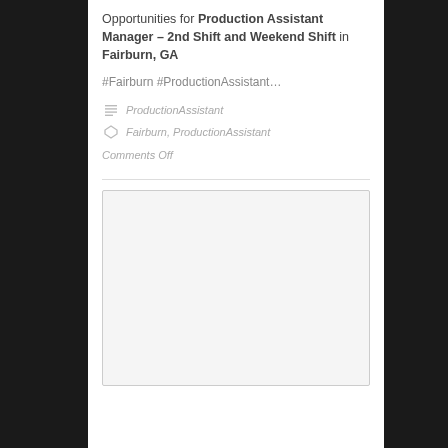Opportunities for Production Assistant Manager – 2nd Shift and Weekend Shift in Fairburn, GA
#Fairburn #ProductionAssistant…
ProductionAssistant
Fairburn, ProductionAssistant
Comments Off
[Figure (other): Advertisement or placeholder box]